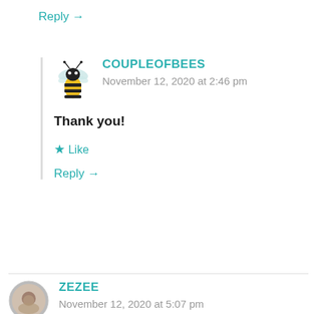Reply →
COUPLEOFBEES
November 12, 2020 at 2:46 pm
Thank you!
★ Like
Reply →
ZEZEE
November 12, 2020 at 5:07 pm
Congrats! And thanks for tagging me.